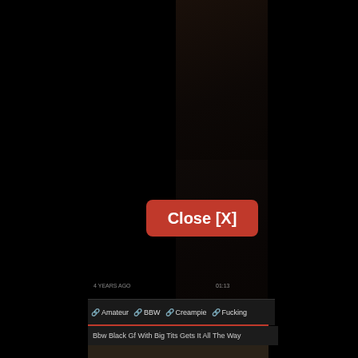[Figure (screenshot): Dark video player screenshot showing adult content thumbnails with a close button overlay. Main content area flanked by black bars on left and right.]
Close [X]
🔗 Amateur
🔗 BBW
🔗 Creampie
🔗 Fucking
Bbw Black Gf With Big Tits Gets It All The Way